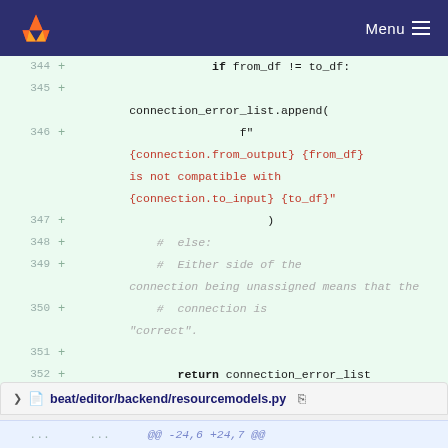GitLab — Menu
[Figure (screenshot): Code diff view showing Python code lines 344-352 with additions marked with + signs on a green background. Lines show an if statement checking from_df != to_df, appending to connection_error_list with an f-string error message about connection compatibility, followed by comments and a return statement.]
beat/editor/backend/resourcemodels.py
... ... @@ -24,6 +24,7 @@